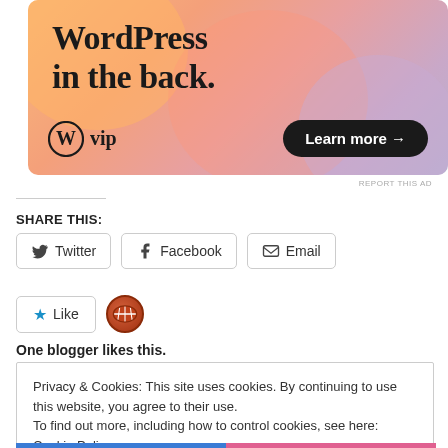[Figure (illustration): WordPress VIP advertisement banner with colorful gradient background (orange, peach, pink, purple blobs). Large text reads 'WordPress in the back.' with WordPress VIP logo on the lower left and a 'Learn more →' button on the lower right.]
REPORT THIS AD
SHARE THIS:
Twitter  Facebook  Email
Like
One blogger likes this.
Privacy & Cookies: This site uses cookies. By continuing to use this website, you agree to their use.
To find out more, including how to control cookies, see here: Cookie Policy
Close and accept